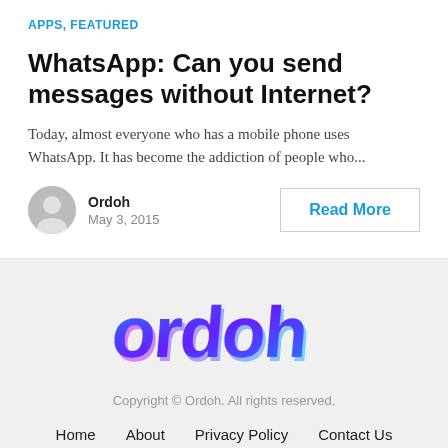APPS, FEATURED
WhatsApp: Can you send messages without Internet?
Today, almost everyone who has a mobile phone uses WhatsApp. It has become the addiction of people who...
Ordoh
May 3, 2015
Read More
[Figure (logo): Ordoh logo in blue and purple gradient text on a light gray background]
Copyright © Ordoh. All rights reserved.
Home   About   Privacy Policy   Contact Us